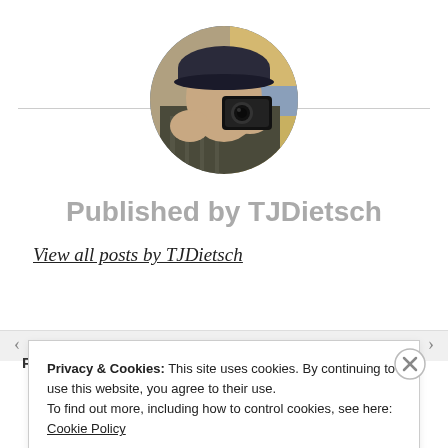[Figure (photo): Circular avatar photo of a person wearing a dark cap, holding a camera up to their face, photographed in a casual setting.]
Published by TJDietsch
View all posts by TJDietsch
Privacy & Cookies: This site uses cookies. By continuing to use this website, you agree to their use.
To find out more, including how to control cookies, see here: Cookie Policy
Close and accept